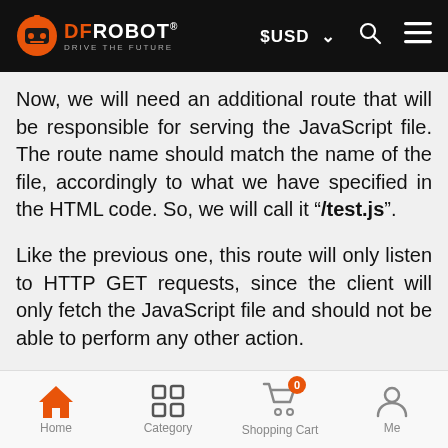DFRobot - Drive the Future | $USD | Search | Menu
Now, we will need an additional route that will be responsible for serving the JavaScript file. The route name should match the name of the file, accordingly to what we have specified in the HTML code. So, we will call it "/test.js".
Like the previous one, this route will only listen to HTTP GET requests, since the client will only fetch the JavaScript file and should not be able to perform any other action.
In the handling function implementation we will simply return back to the client the JavaScript file...
Home | Category | Shopping Cart | Me